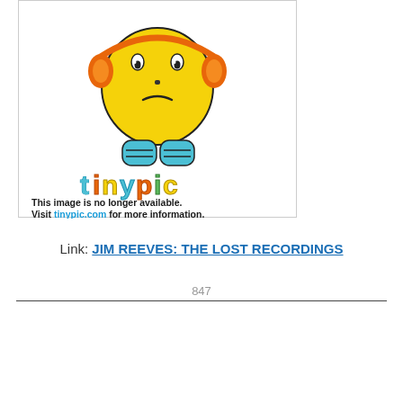[Figure (illustration): Tinypic.com placeholder image showing a yellow sad-face emoji character with orange headphones, blue feet, and colorful 'tinypic' logo text. Below the illustration: 'This image is no longer available. Visit tinypic.com for more information.']
Link: JIM REEVES: THE LOST RECORDINGS
847